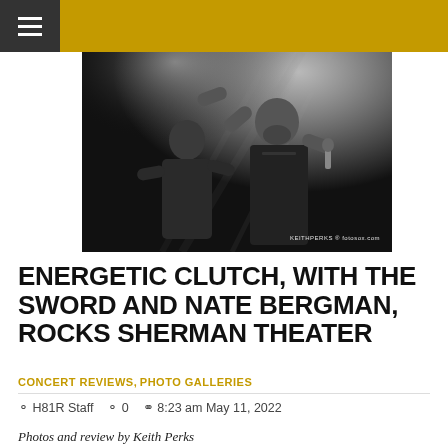≡
[Figure (photo): Black and white concert photo of a male vocalist holding a microphone, reaching out with one hand, with another musician visible in the background. Watermark reads KEITHPERKS and fotosox.com]
ENERGETIC CLUTCH, WITH THE SWORD AND NATE BERGMAN, ROCKS SHERMAN THEATER
CONCERT REVIEWS, PHOTO GALLERIES
H81R Staff  0  8:23 am May 11, 2022
Photos and review by Keith Perks